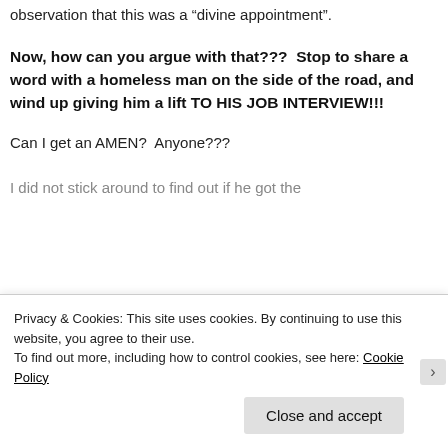observation that this was a “divine appointment”.
Now, how can you argue with that???  Stop to share a word with a homeless man on the side of the road, and wind up giving him a lift TO HIS JOB INTERVIEW!!!
Can I get an AMEN?  Anyone???
I did not stick around to find out if he got the
Privacy & Cookies: This site uses cookies. By continuing to use this website, you agree to their use.
To find out more, including how to control cookies, see here: Cookie Policy
Close and accept